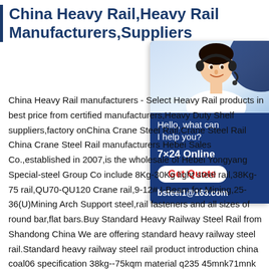China Heavy Rail,Heavy Rail Manufacturers,Suppliers
[Figure (photo): Customer service representative wearing headset, with chat widget showing Hello what can I help you?, 7x24 Online, Get Quote button, bsteel1@163.com]
China Heavy Rail manufacturers - Select Heavy Rail products in best price from certified manufacturers,Heavy Duty Shelf suppliers,factory onChina Crane Steel Rail,Crane Steel Rail China Crane Steel Rail manufacturers Hebei Sales Co.,established in 2007,is the wholesale of Hebei Yongyang Special-steel Group Co include 8Kg-30Kg light steel rail,38Kg-75 rail,QU70-QU120 Crane rail,9-12# I-Beam for Mining,25-36(U)Mining Arch Support steel,rail fasteners and all sizes of round bar,flat bars.Buy Standard Heavy Railway Steel Rail from Shandong China We are offering standard heavy railway steel rail.Standard heavy railway steel rail product introduction china coal06 specification 38kg--75kqm material q235 45mnk71mnk